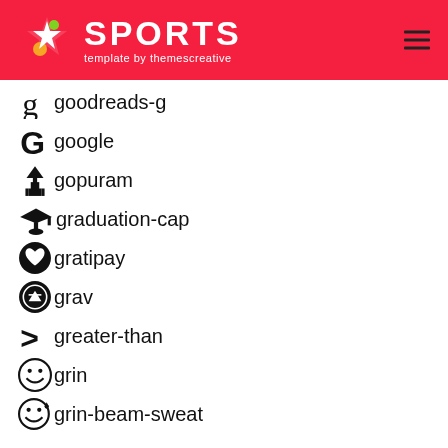SPORTS template by themescreative
goodreads-g
google
gopuram
graduation-cap
gratipay
grav
greater-than
grin
grin-beam-sweat